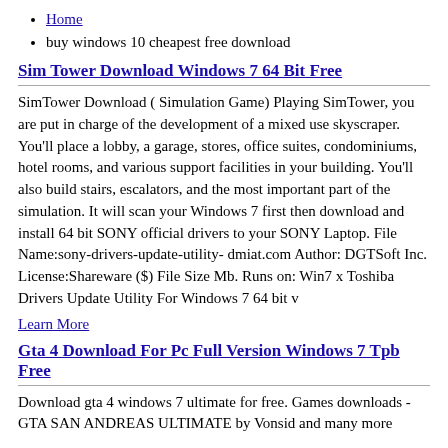Home
buy windows 10 cheapest free download
Sim Tower Download Windows 7 64 Bit Free
SimTower Download ( Simulation Game) Playing SimTower, you are put in charge of the development of a mixed use skyscraper. You'll place a lobby, a garage, stores, office suites, condominiums, hotel rooms, and various support facilities in your building. You'll also build stairs, escalators, and the most important part of the simulation. It will scan your Windows 7 first then download and install 64 bit SONY official drivers to your SONY Laptop. File Name:sony-drivers-update-utility- dmiat.com Author: DGTSoft Inc. License:Shareware ($) File Size Mb. Runs on: Win7 x Toshiba Drivers Update Utility For Windows 7 64 bit v
Learn More
Gta 4 Download For Pc Full Version Windows 7 Tpb Free
Download gta 4 windows 7 ultimate for free. Games downloads - GTA SAN ANDREAS ULTIMATE by Vonsid and many more